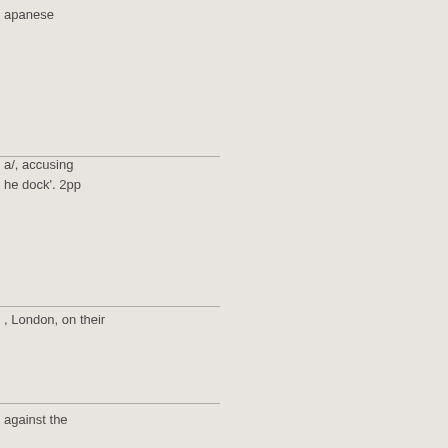apanese
a/, accusing
he dock'. 2pp
, London, on their
against the